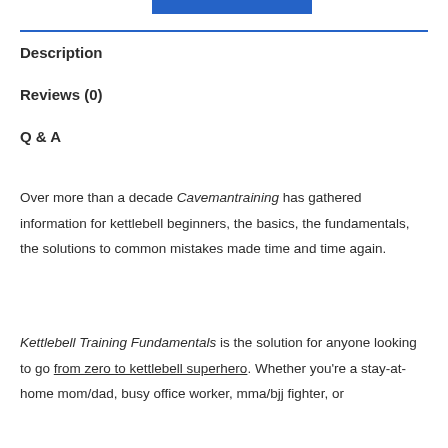[Figure (other): Blue button/bar at top of page]
Description
Reviews (0)
Q & A
Over more than a decade Cavemantraining has gathered information for kettlebell beginners, the basics, the fundamentals, the solutions to common mistakes made time and time again.
Kettlebell Training Fundamentals is the solution for anyone looking to go from zero to kettlebell superhero. Whether you’re a stay-at-home mom/dad, busy office worker, mma/bjj fighter, or